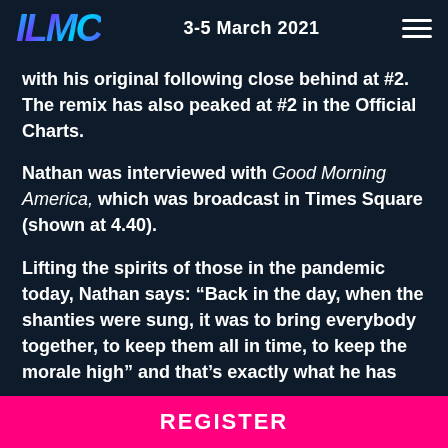ILMC   3-5 March 2021
with his original following close behind at #2. The remix has also peaked at #2 in the Official Charts.
Nathan was interviewed with Good Morning America, which was broadcast in Times Square (shown at 4.40).
Lifting the spirits of those in the pandemic today, Nathan says: “Back in the day, when the shanties were sung, it was to bring everybody together, to keep them all in time, to keep the morale high” and that’s exactly what he has
REGISTER